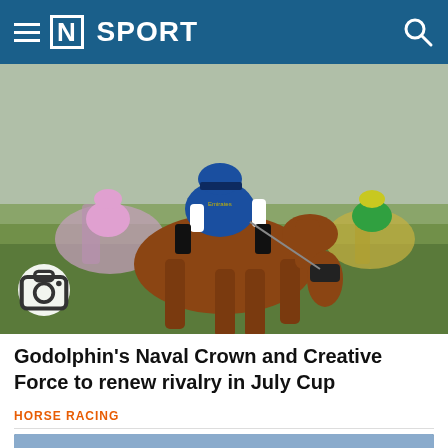[N] SPORT
[Figure (photo): Horse racing photo showing a jockey in blue and white silks riding a chestnut horse in the lead, with other horses and jockeys visible behind, on a green grass track.]
Godolphin's Naval Crown and Creative Force to renew rivalry in July Cup
HORSE RACING
[Figure (photo): Horse racing photo showing a jockey in blue silks on a chestnut horse racing past a large crowd of spectators dressed formally.]